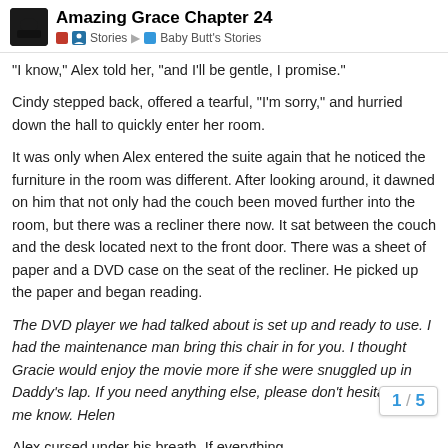Amazing Grace Chapter 24 — Stories > Baby Butt's Stories
"I know," Alex told her, "and I'll be gentle, I promise."
Cindy stepped back, offered a tearful, "I'm sorry," and hurried down the hall to quickly enter her room.
It was only when Alex entered the suite again that he noticed the furniture in the room was different. After looking around, it dawned on him that not only had the couch been moved further into the room, but there was a recliner there now. It sat between the couch and the desk located next to the front door. There was a sheet of paper and a DVD case on the seat of the recliner. He picked up the paper and began reading.
The DVD player we had talked about is set up and ready to use. I had the maintenance man bring this chair in for you. I thought Gracie would enjoy the movie more if she were snuggled up in Daddy's lap. If you need anything else, please don't hesitate to let me know. Helen
Alex cursed under his breath. If everything